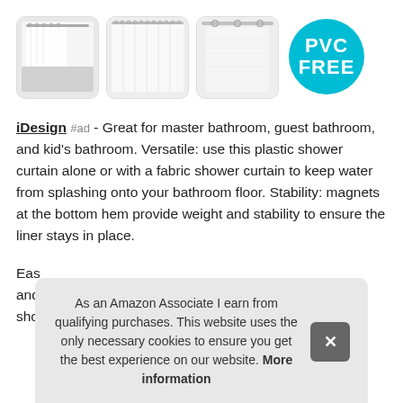[Figure (photo): Four images in a row: three photos of white shower curtain liners (bathroom view, hanging curtain, curtain close-up) and a PVC FREE badge circle]
iDesign #ad - Great for master bathroom, guest bathroom, and kid's bathroom. Versatile: use this plastic shower curtain alone or with a fabric shower curtain to keep water from splashing onto your bathroom floor. Stability: magnets at the bottom hem provide weight and stability to ensure the liner stays in place.
Eas... and... sho...
As an Amazon Associate I earn from qualifying purchases. This website uses the only necessary cookies to ensure you get the best experience on our website. More information